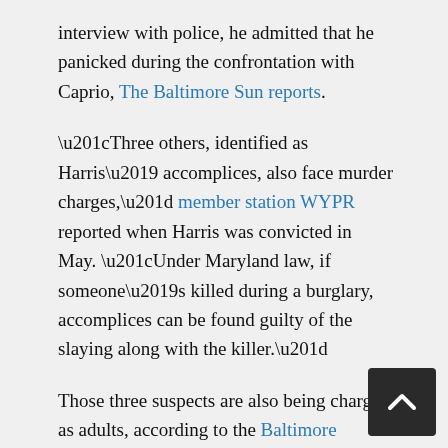interview with police, he admitted that he panicked during the confrontation with Caprio, The Baltimore Sun reports.
“Three others, identified as Harris’ accomplices, also face murder charges,” member station WYPR reported when Harris was convicted in May. “Under Maryland law, if someone’s killed during a burglary, accomplices can be found guilty of the slaying along with the killer.”
Those three suspects are also being charged as adults, according to the Baltimore County Police Department.
Harris did not speak in court on Wednesday; instead, his lawyer read aloud a statement in which Harris said he was sorry, according to reporter Abby Isaacs of local TV station WMAR.
Isaacs adds that Harris’ defense team plans to appeal —